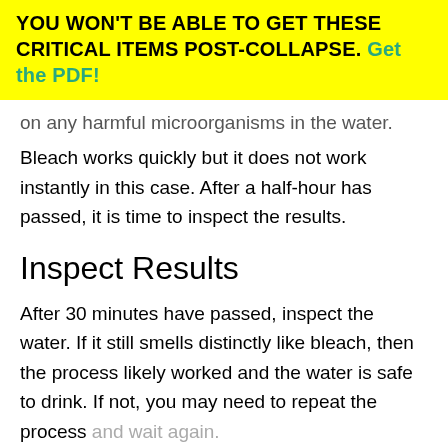YOU WON'T BE ABLE TO GET THESE CRITICAL ITEMS POST-COLLAPSE. Get the PDF!
on any harmful microorganisms in the water.
Bleach works quickly but it does not work instantly in this case. After a half-hour has passed, it is time to inspect the results.
Inspect Results
After 30 minutes have passed, inspect the water. If it still smells distinctly like bleach, then the process likely worked and the water is safe to drink. If not, you may need to repeat the process and wait again.